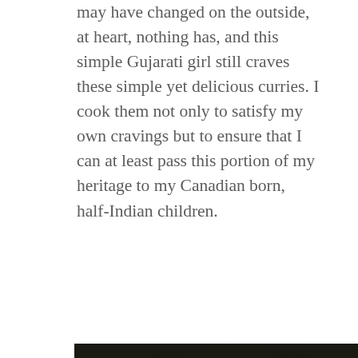may have changed on the outside, at heart, nothing has, and this simple Gujarati girl still craves these simple yet delicious curries. I cook them not only to satisfy my own cravings but to ensure that I can at least pass this portion of my heritage to my Canadian born, half-Indian children.
[Figure (photo): Dark-toned food photography showing bowls of Indian curry dishes on a wooden table with green herbs/leaves, photographed from above at an angle. A white bowl with orange curry is visible at the bottom right.]